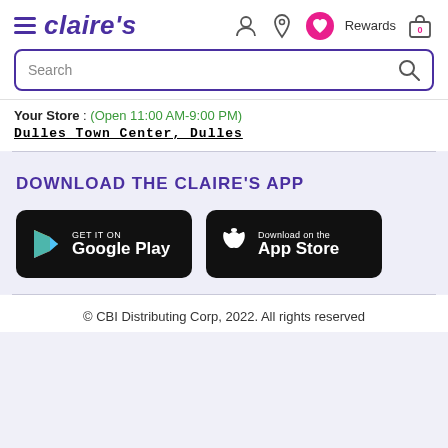claire's — navigation header with hamburger menu, user icon, location icon, heart/rewards icon, and cart (0)
Search
Your Store : (Open 11:00 AM-9:00 PM)
Dulles Town Center, Dulles
DOWNLOAD THE CLAIRE'S APP
[Figure (screenshot): Google Play Store download badge — black rounded rectangle with Google Play triangle logo and text 'GET IT ON Google Play']
[Figure (screenshot): Apple App Store download badge — black rounded rectangle with Apple logo and text 'Download on the App Store']
© CBI Distributing Corp, 2022. All rights reserved